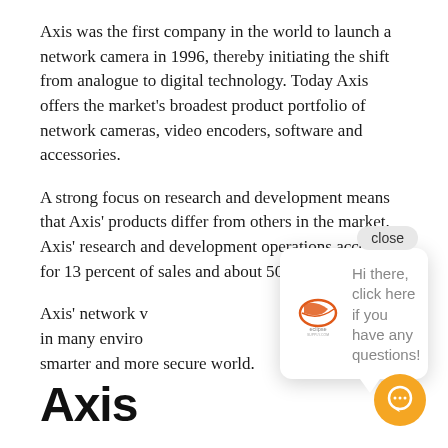Axis was the first company in the world to launch a network camera in 1996, thereby initiating the shift from analogue to digital technology. Today Axis offers the market's broadest product portfolio of network cameras, video encoders, software and accessories.
A strong focus on research and development means that Axis' products differ from others in the market. Axis' research and development operations accounted for 13 percent of sales and about 500 engineers work...
Axis' network... in many environ... smarter and more secure world.
[Figure (other): Chat popup overlay with 'close' button, Eclipse logo, and text 'Hi there, click here if you have any questions!']
Axis
[Figure (other): Orange circular chat button in bottom right corner]